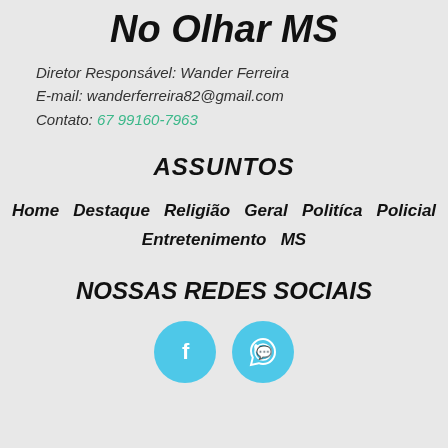No Olhar MS
Diretor Responsável: Wander Ferreira
E-mail: wanderferreira82@gmail.com
Contato: 67 99160-7963
ASSUNTOS
Home  Destaque  Religião  Geral  Politíca  Policial  Entretenimento  MS
NOSSAS REDES SOCIAIS
[Figure (illustration): Two circular social media icons: Facebook (f) and WhatsApp (phone/chat icon), both in light blue (#4ec8e8) circles.]